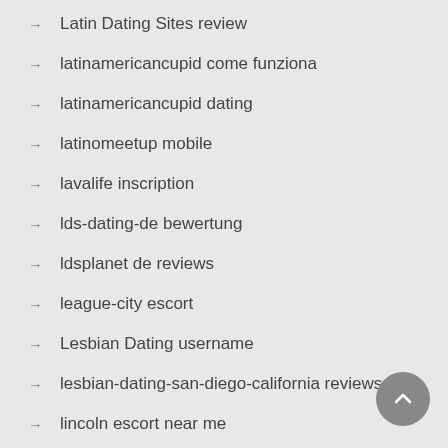Latin Dating Sites review
latinamericancupid come funziona
latinamericancupid dating
latinomeetup mobile
lavalife inscription
lds-dating-de bewertung
ldsplanet de reviews
league-city escort
Lesbian Dating username
lesbian-dating-san-diego-california reviews
lincoln escort near me